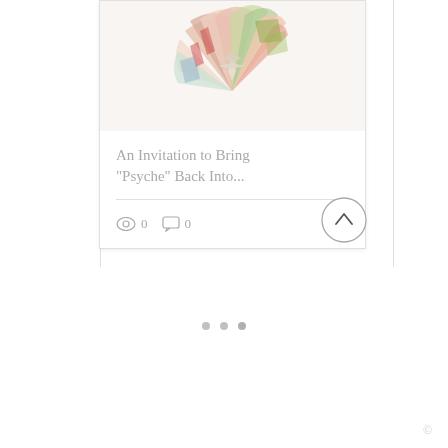[Figure (illustration): Colorful abstract collage artwork with layered fan/shell shapes in peach, red, green, and blue tones]
An Invitation to Bring "Psyche" Back Into...
[Figure (other): View count icon (eye) showing 0 views, comment icon showing 0 comments, and a pink heart/like button]
[Figure (other): Three pagination dots indicating carousel position]
©